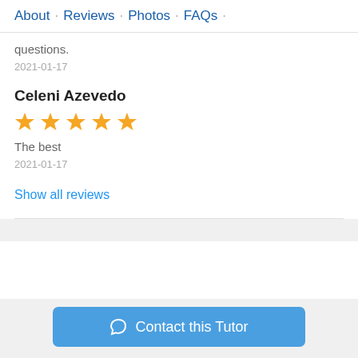About · Reviews · Photos · FAQs ·
questions.
2021-01-17
Celeni Azevedo
[Figure (other): 5 gold star rating icons]
The best
2021-01-17
Show all reviews
Contact this Tutor